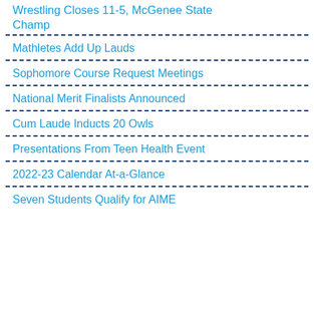Wrestling Closes 11-5, McGenee State Champ
Mathletes Add Up Lauds
Sophomore Course Request Meetings
National Merit Finalists Announced
Cum Laude Inducts 20 Owls
Presentations From Teen Health Event
2022-23 Calendar At-a-Glance
Seven Students Qualify for AIME